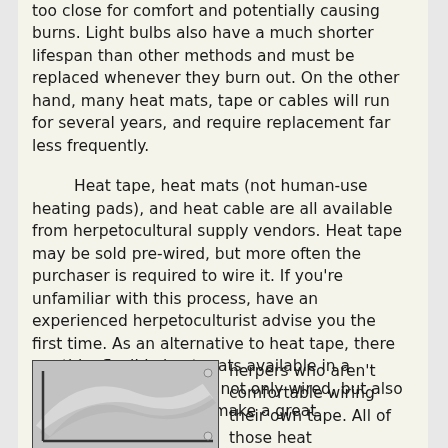too close for comfort and potentially causing burns. Light bulbs also have a much shorter lifespan than other methods and must be replaced whenever they burn out. On the other hand, many heat mats, tape or cables will run for several years, and require replacement far less frequently.
Heat tape, heat mats (not human-use heating pads), and heat cable are all available from herpetocultural supply vendors. Heat tape may be sold pre-wired, but more often the purchaser is required to wire it. If you're unfamiliar with this process, have an experienced herpetoculturist advise you the first time. As an alternative to heat tape, there are thin, flexible heat mats available in a variety of sizes that are not only wired, but also UL safety-listed. These make a great alternative for herpers who aren't comfortable wiring their own tape. All of those heat
[Figure (photo): Partial photo of a heat mat or heat tape product, showing a grey/white flexible mat with curved edges, partially visible.]